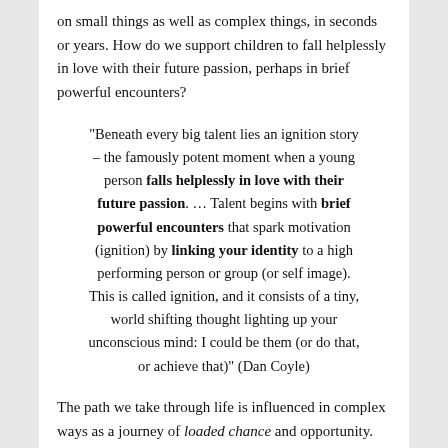on small things as well as complex things, in seconds or years. How do we support children to fall helplessly in love with their future passion, perhaps in brief powerful encounters?
“Beneath every big talent lies an ignition story – the famously potent moment when a young person falls helplessly in love with their future passion. … Talent begins with brief powerful encounters that spark motivation (ignition) by linking your identity to a high performing person or group (or self image). This is called ignition, and it consists of a tiny, world shifting thought lighting up your unconscious mind: I could be them (or do that, or achieve that)” (Dan Coyle)
The path we take through life is influenced in complex ways as a journey of loaded chance and opportunity. How accessible the opportunities are depends on the level of advantage or disadvantage. The way that opportunities